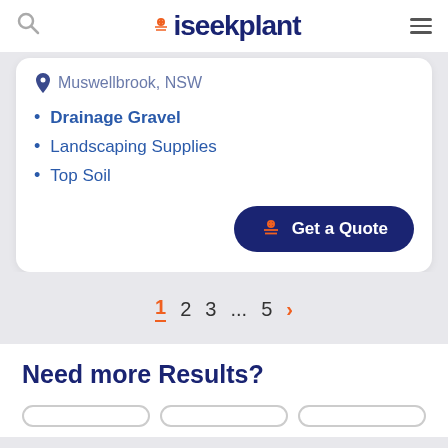iseekplant
Muswellbrook, NSW
Drainage Gravel
Landscaping Supplies
Top Soil
Get a Quote
1 2 3 … 5 >
Need more Results?